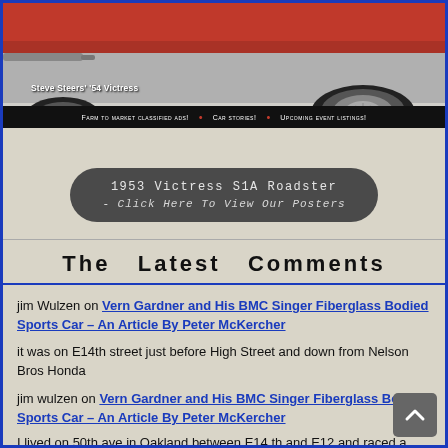[Figure (photo): Close-up photo of a red classic car (1954 Victress) showing the lower body, exhaust pipe, chrome wheel/hubcap, and tire on a light surface. Caption reads: Steve Steers' '54 Victress]
Steve Steers' '54 Victress
Farm to market classified ads!  •  Car stories!  •  Upcoming event listings!
[Figure (infographic): Dark rounded pill/button graphic with text: 1953 Victress S1A Roadster - Click Here To View Our Posters]
The Latest Comments
jim Wulzen on Vern Gardner and His BMC Singer Fiberglass Bodied Sports Car – An Article By Peter McKercher
it was on E14th street just before High Street and down from Nelson Bros Honda
jim wulzen on Vern Gardner and His BMC Singer Fiberglass Bodied Sports Car – An Article By Peter McKercher
I lived on 50th ave in Oakland between E14 th and E12 and raced a